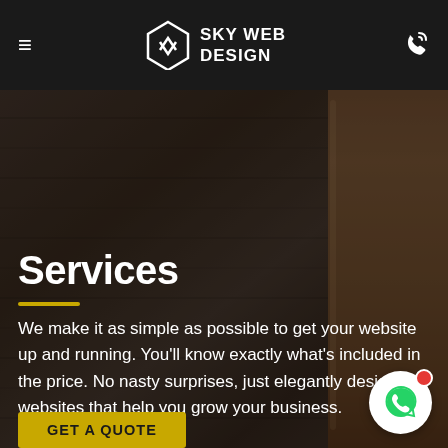SKY WEB DESIGN
[Figure (screenshot): Dark wood table background with leather chair on right side]
Services
We make it as simple as possible to get your website up and running. You'll know exactly what's included in the price. No nasty surprises, just elegantly designed websites that help you grow your business.
GET A QUOTE